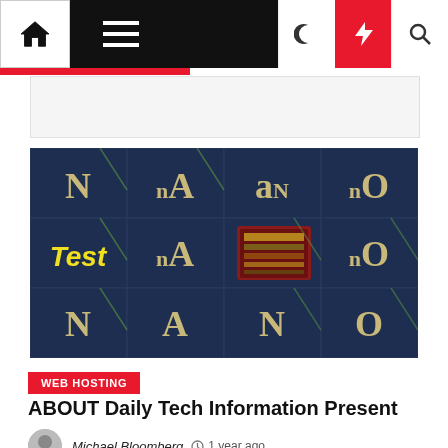Navigation bar with home, menu, dark mode, flash, and search icons
[Figure (screenshot): Dark blue grid pattern with letters N, NA, AN, NO in gold/cream tones, yellow bold 'Test' text overlay on left, and a red-bordered highlighted cell in the middle-right area showing a QR-like pattern]
WEB HOSTING
ABOUT Daily Tech Information Present
Michael Bloomberg  1 year ago